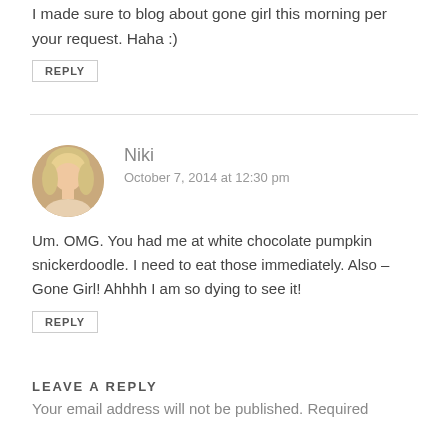I made sure to blog about gone girl this morning per your request. Haha :)
REPLY
Niki
October 7, 2014 at 12:30 pm
Um. OMG. You had me at white chocolate pumpkin snickerdoodle. I need to eat those immediately. Also – Gone Girl! Ahhhh I am so dying to see it!
REPLY
LEAVE A REPLY
Your email address will not be published. Required